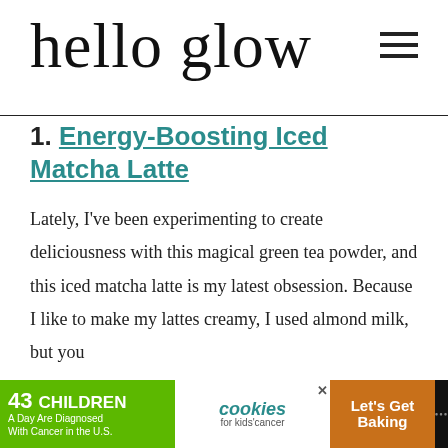hello glow
1. Energy-Boosting Iced Matcha Latte
Lately, I've been experimenting to create deliciousness with this magical green tea powder, and this iced matcha latte is my latest obsession. Because I like to make my lattes creamy, I used almond milk, but you
[Figure (other): Advertisement banner: '43 CHILDREN A Day Are Diagnosed With Cancer in the U.S.' with cookies for kids' cancer logo and 'Let's Get Baking' text on orange background]